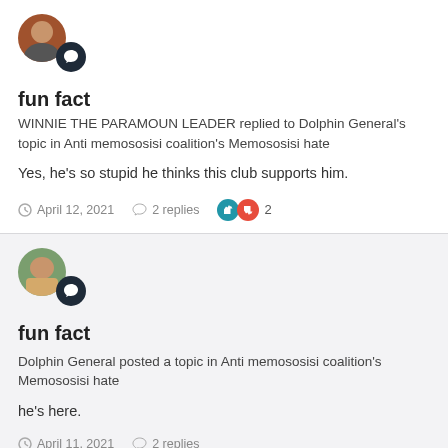[Figure (illustration): User avatar with chat badge icon, first post]
fun fact
WINNIE THE PARAMOUN LEADER replied to Dolphin General's topic in Anti memososisi coalition's Memososisi hate
Yes, he's so stupid he thinks this club supports him.
April 12, 2021   2 replies   2
[Figure (illustration): User avatar with chat badge icon, second post]
fun fact
Dolphin General posted a topic in Anti memososisi coalition's Memososisi hate
he's here.
April 11, 2021   2 replies